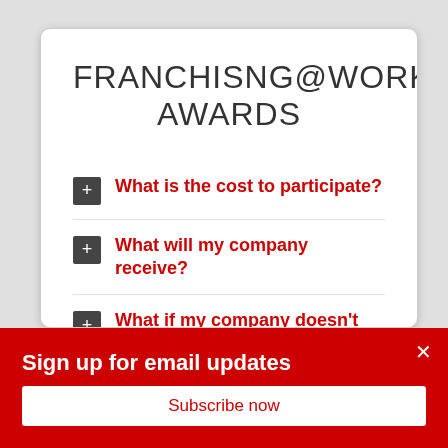FRANCHISNG@WORK AWARDS
What is the cost to participate?
What will my company receive?
What if my company doesn't make the list?
Sign up for email updates
Subscribe now